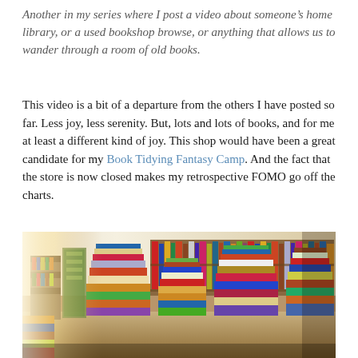Another in my series where I post a video about someone's home library, or a used bookshop browse, or anything that allows us to wander through a room of old books.
This video is a bit of a departure from the others I have posted so far. Less joy, less serenity. But, lots and lots of books, and for me at least a different kind of joy. This shop would have been a great candidate for my Book Tidying Fantasy Camp. And the fact that the store is now closed makes my retrospective FOMO go off the charts.
[Figure (photo): Interior of a chaotic used bookshop with towering stacks of books piled on the floor and shelves in the background, warm golden light]